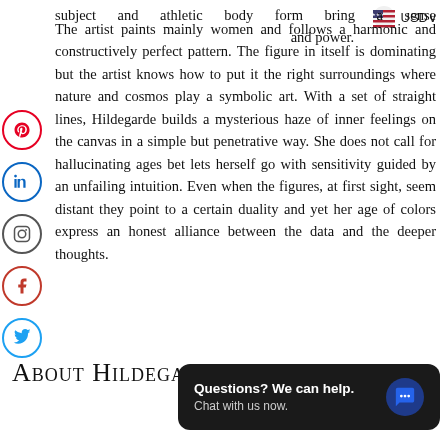USD
subject and athletic body form bring a sense and power.
The artist paints mainly women and follows a harmonic and constructively perfect pattern. The figure in itself is dominating but the artist knows how to put it the right surroundings where nature and cosmos play a symbolic art. With a set of straight lines, Hildegarde builds a mysterious haze of inner feelings on the canvas in a simple but penetrative way. She does not call for hallucinating ages bet lets herself go with sensitivity guided by an unfailing intuition. Even when the figures, at first sight, seem distant they point to a certain duality and yet her age of colors express an honest alliance between the data and the deeper thoughts.
About Hildegarde
[Figure (screenshot): Chat widget: 'Questions? We can help. Chat with us now.' with blue speech bubble icon on dark background]